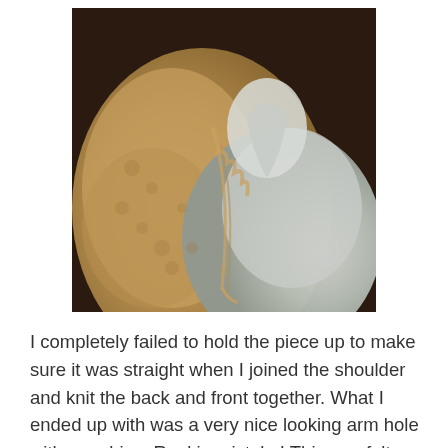[Figure (photo): A close-up photo of knitted fabric pieces, showing a tan/beige textured knitted section and a light gray/white knitted section laid together, with visible stitching along the join area.]
I completely failed to hold the piece up to make sure it was straight when I joined the shoulder and knit the back and front together. What I ended up with was a very nice looking arm hole with a mobius. Rookie mistake! This one felt as big as knitting the wrong sleeve